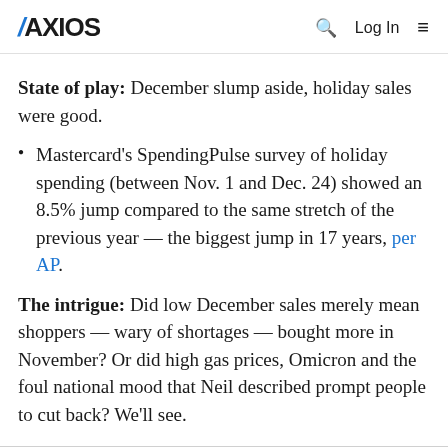AXIOS
State of play: December slump aside, holiday sales were good.
Mastercard's SpendingPulse survey of holiday spending (between Nov. 1 and Dec. 24) showed an 8.5% jump compared to the same stretch of the previous year — the biggest jump in 17 years, per AP.
The intrigue: Did low December sales merely mean shoppers — wary of shortages — bought more in November? Or did high gas prices, Omicron and the foul national mood that Neil described prompt people to cut back? We'll see.